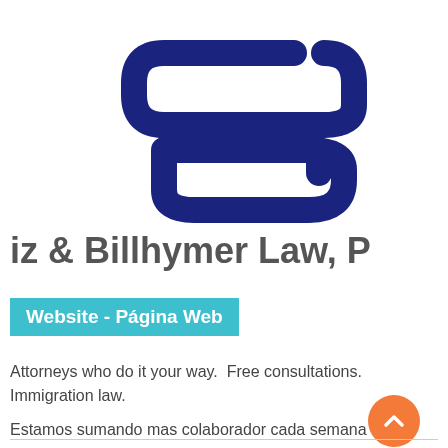[Figure (logo): CB monogram logo in dark navy blue, stylized interlinked C and B letterforms resembling a chain link or pill shape]
iz & Billhymer Law, P
Website - Página Web
Attorneys who do it your way.  Free consultations. Immigration law.
Estamos sumando mas colaborador cada semana